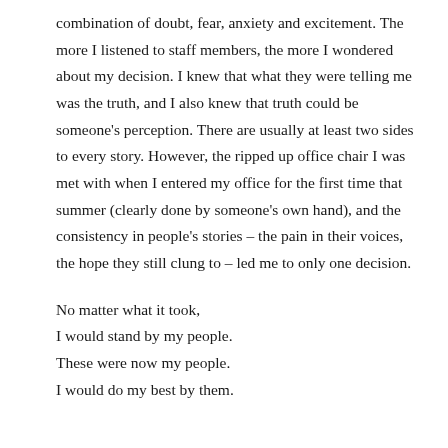combination of doubt, fear, anxiety and excitement. The more I listened to staff members, the more I wondered about my decision. I knew that what they were telling me was the truth, and I also knew that truth could be someone's perception. There are usually at least two sides to every story. However, the ripped up office chair I was met with when I entered my office for the first time that summer (clearly done by someone's own hand), and the consistency in people's stories – the pain in their voices, the hope they still clung to – led me to only one decision.
No matter what it took,
I would stand by my people.
These were now my people.
I would do my best by them.